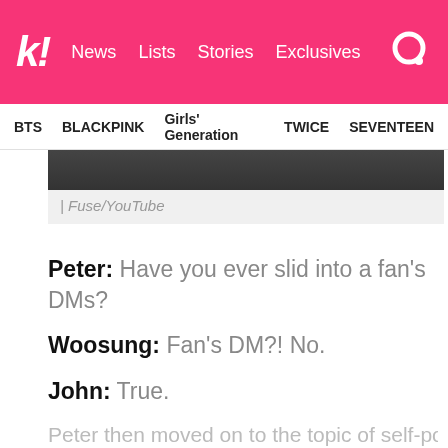k! News  Lists  Stories  Exclusives
BTS  BLACKPINK  Girls' Generation  TWICE  SEVENTEEN
[Figure (photo): Partial view of a dark photo, cropped at top of page]
| Fuse/YouTube
Peter: Have you ever slid into a fan's DMs?
Woosung: Fan's DM?! No.
John: True.
Woosung: No, never.
Peter then moved on to the topic of self-portraits